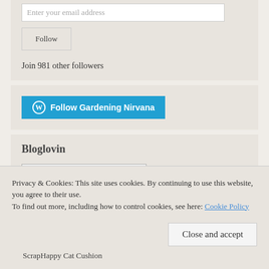[Figure (screenshot): Email input field with placeholder 'Enter your email address']
[Figure (screenshot): Follow button (grey bordered box)]
Join 981 other followers
[Figure (screenshot): WordPress Follow Gardening Nirvana button (blue with WP icon)]
Bloglovin
[Figure (screenshot): Follow me on bloglovin' button]
Privacy & Cookies: This site uses cookies. By continuing to use this website, you agree to their use.
To find out more, including how to control cookies, see here: Cookie Policy
[Figure (screenshot): Close and accept button]
ScrapHappy Cat Cushion